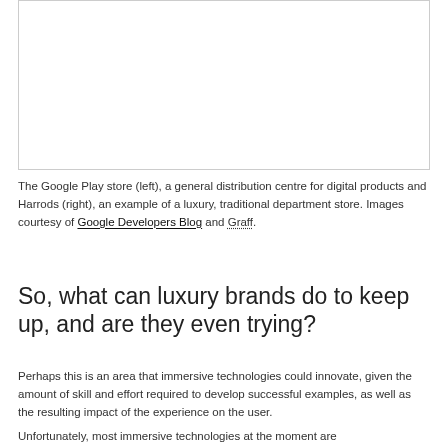[Figure (photo): A bordered empty image placeholder representing two images: the Google Play store (left) and Harrods (right).]
The Google Play store (left), a general distribution centre for digital products and Harrods (right), an example of a luxury, traditional department store. Images courtesy of Google Developers Blog and Graff.
So, what can luxury brands do to keep up, and are they even trying?
Perhaps this is an area that immersive technologies could innovate, given the amount of skill and effort required to develop successful examples, as well as the resulting impact of the experience on the user.
Unfortunately, most immersive technologies at the moment are